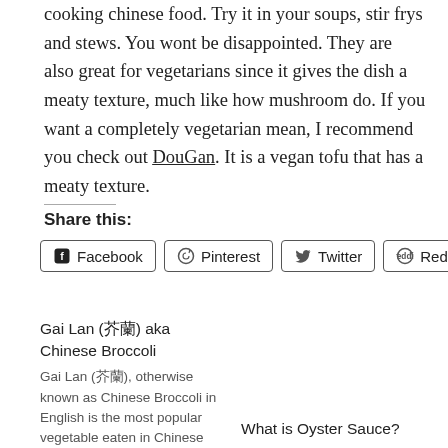cooking chinese food. Try it in your soups, stir frys and stews. You wont be disappointed. They are also great for vegetarians since it gives the dish a meaty texture, much like how mushroom do. If you want a completely vegetarian mean, I recommend you check out DouGan. It is a vegan tofu that has a meaty texture.
Share this:
Facebook | Pinterest | Twitter | Reddit | More
Gai Lan (芥蘭) aka Chinese Broccoli
Gai Lan (芥蘭), otherwise known as Chinese Broccoli in English is the most popular vegetable eaten in Chinese Cuisine. This
December 31, 2019
In "Articles"
What is Oyster Sauce?
December 26, 2019
In "Articles"